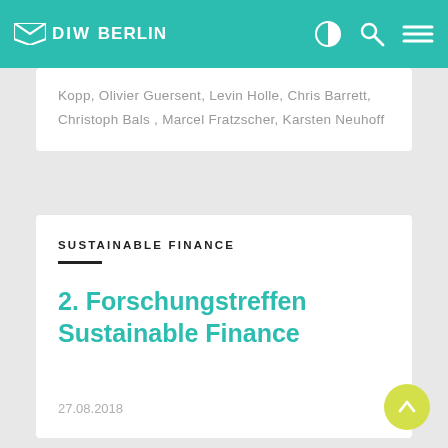DIW BERLIN
Kopp, Olivier Guersent, Levin Holle, Chris Barrett, Christoph Bals , Marcel Fratzscher, Karsten Neuhoff
SUSTAINABLE FINANCE
2. Forschungstreffen Sustainable Finance
27.08.2018